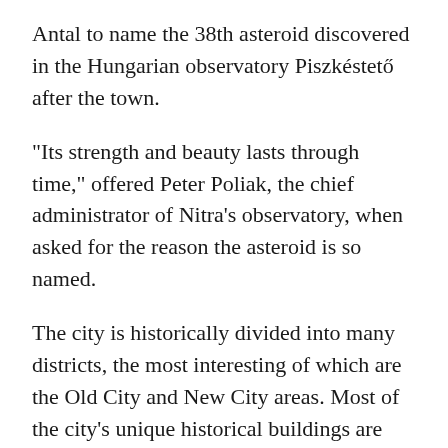Antal to name the 38th asteroid discovered in the Hungarian observatory Piszkéstető after the town.
“Its strength and beauty lasts through time,” offered Peter Poliak, the chief administrator of Nitra’s observatory, when asked for the reason the asteroid is so named.
The city is historically divided into many districts, the most interesting of which are the Old City and New City areas. Most of the city’s unique historical buildings are centred on the downtown, which remains Nitra’s heart. Central to the old town is castle hill, which is one of seven hills over whose peaks and valleys the city is now spread. (Although Trnava is refered to as the “Slovak Rome”, Nitra’s geography is more analogous. Rome too is built over